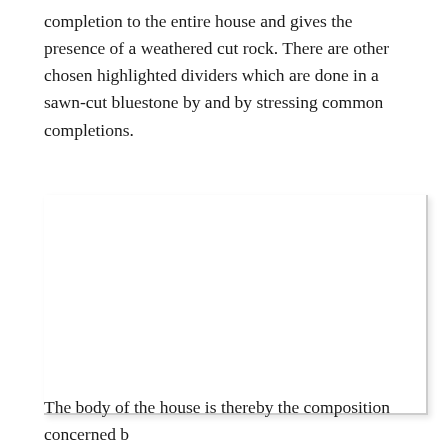completion to the entire house and gives the presence of a weathered cut rock. There are other chosen highlighted dividers which are done in a sawn-cut bluestone by and by stressing common completions.
[Figure (other): Large white rectangular image/photo area with a subtle drop shadow on the right and bottom edges.]
The body of the house is thereby the composition concerned b...